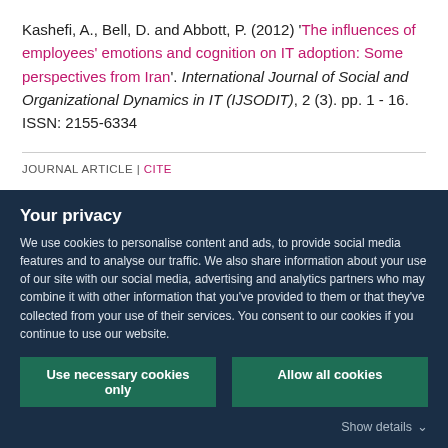Kashefi, A., Bell, D. and Abbott, P. (2012) 'The influences of employees' emotions and cognition on IT adoption: Some perspectives from Iran'. International Journal of Social and Organizational Dynamics in IT (IJSODIT), 2 (3). pp. 1 - 16. ISSN: 2155-6334
JOURNAL ARTICLE | CITE
Your privacy
We use cookies to personalise content and ads, to provide social media features and to analyse our traffic. We also share information about your use of our site with our social media, advertising and analytics partners who may combine it with other information that you've provided to them or that they've collected from your use of their services. You consent to our cookies if you continue to use our website.
Use necessary cookies only
Allow all cookies
Show details